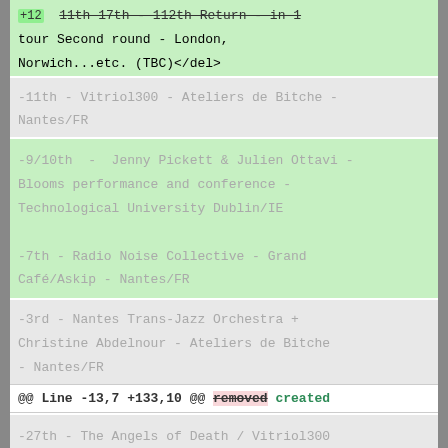tour Second round - London, Norwich...etc. (TBC)</del>
-11th - Vitriol300 - Ateliers de Bitche - Nantes/FR
-9/10th - Jenny Pickett & Julien Ottavi - Blooms performance and conference - Technological University Dublin/IE
-7th - Radio Noise Collective - Grand Café/Askip - Nantes/FR
-3rd - Nantes Trans-Jazz Orchestra + Christine Abdelnour - Ateliers de Bitche - Nantes/FR
@@ Line -13,7 +133,10 @@ removed created
-27th - The Angels of Death / Vitriol300 - Bruitismes, Nadir - Bourges/FR